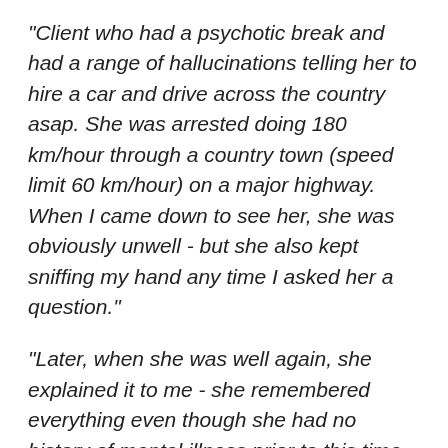"Client who had a psychotic break and had a range of hallucinations telling her to hire a car and drive across the country asap. She was arrested doing 180 km/hour through a country town (speed limit 60 km/hour) on a major highway. When I came down to see her, she was obviously unwell - but she also kept sniffing my hand any time I asked her a question."
"Later, when she was well again, she explained it to me - she remembered everything even though she had no history of mental illness prior to this time. Everyone "bad" (ie all the police officers) smelled like rotting corpses to her at that time, but "I knew I could trust you, because